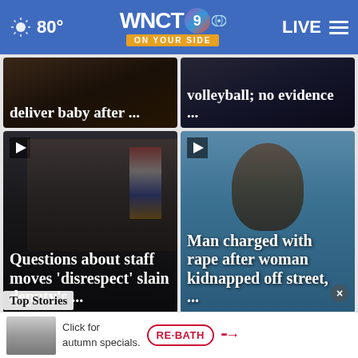80° WNCT9 ON YOUR SIDE LIVE
deliver baby after ...
volleyball; no evidence ...
[Figure (screenshot): News video thumbnail showing man and police officer with flags - Questions about staff moves 'disrespect' slain deputy's ...]
[Figure (screenshot): News photo mugshot of man - Man charged with rape after woman kidnapped off street, ...]
Click for autumn specials. RE·BATH →
Top Stories